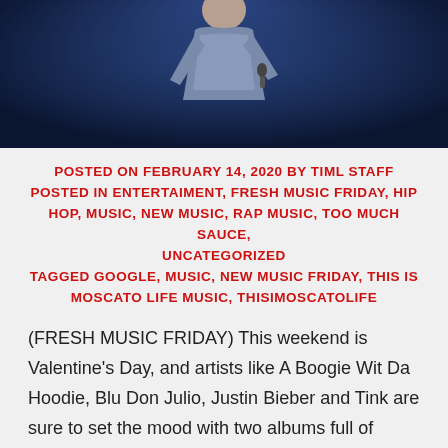[Figure (photo): Photo of a performer on stage under blue lighting, cropped to show upper body]
POSTED ON FEBRUARY 14, 2020 BY TIML STAFF POSTED IN ENTERTAIMENT, FRESH MUSIC FRIDAY, HIP HOP, MUSIC, NEW MUSIC, RAP MUSIC, TOO MUCH SAUCE, UNCATEGORIZED TAGGED GOOGLE, MUSIC, NEW MUSIC FRIDAY, THIS IS MOSCATO LIFE MUSIC, THISIMOSCATOLIFE
(FRESH MUSIC FRIDAY) This weekend is Valentine's Day, and artists like A Boogie Wit Da Hoodie, Blu Don Julio, Justin Bieber and Tink are sure to set the mood with two albums full of romantic tunes. Look below for more new music this week.